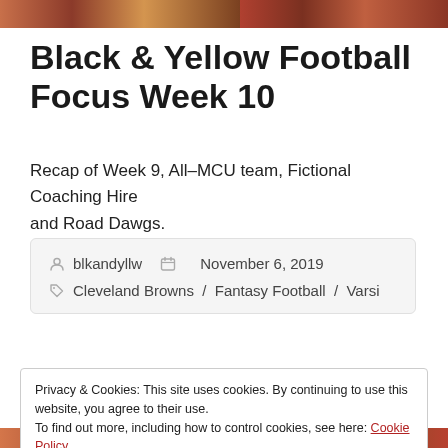[Figure (photo): Top banner with two photo blocks showing football-related imagery]
Black & Yellow Football Focus Week 10
Recap of Week 9, All-MCU team, Fictional Coaching Hire and Road Dawgs.
blkandyllw   November 6, 2019   Cleveland Browns / Fantasy Football / Varsi
Privacy & Cookies: This site uses cookies. By continuing to use this website, you agree to their use. To find out more, including how to control cookies, see here: Cookie Policy
[Figure (photo): Bottom banner with two photo blocks showing football-related imagery]